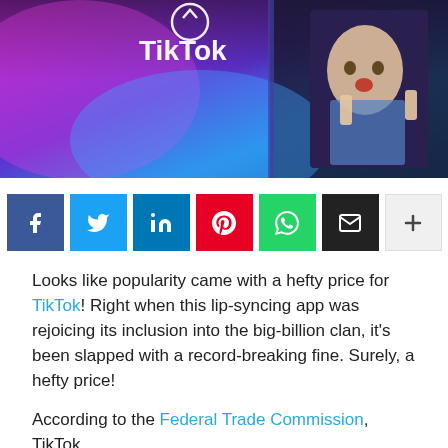[Figure (photo): Hero image showing TikTok branding on a purple and blue illuminated display, with a woman on a screen in the background]
[Figure (infographic): Row of social media share buttons: Facebook (dark blue), Twitter (light blue), LinkedIn (blue), Pinterest (red), WhatsApp (green), Email (black), More (white with plus icon)]
Looks like popularity came with a hefty price for TikTok! Right when this lip-syncing app was rejoicing its inclusion into the big-billion clan, it's been slapped with a record-breaking fine. Surely, a hefty price!
According to the Federal Trade Commission, TikTok